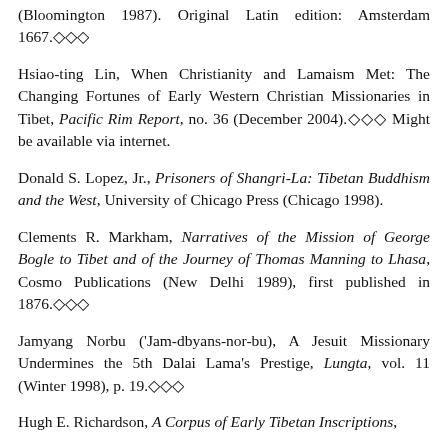(Bloomington 1987). Original Latin edition: Amsterdam 1667.◇◇◇
Hsiao-ting Lin, When Christianity and Lamaism Met: The Changing Fortunes of Early Western Christian Missionaries in Tibet, Pacific Rim Report, no. 36 (December 2004).◇◇◇ Might be available via internet.
Donald S. Lopez, Jr., Prisoners of Shangri-La: Tibetan Buddhism and the West, University of Chicago Press (Chicago 1998).
Clements R. Markham, Narratives of the Mission of George Bogle to Tibet and of the Journey of Thomas Manning to Lhasa, Cosmo Publications (New Delhi 1989), first published in 1876.◇◇◇
Jamyang Norbu ('Jam-dbyans-nor-bu), A Jesuit Missionary Undermines the 5th Dalai Lama's Prestige, Lungta, vol. 11 (Winter 1998), p. 19.◇◇◇
Hugh E. Richardson, A Corpus of Early Tibetan Inscriptions,